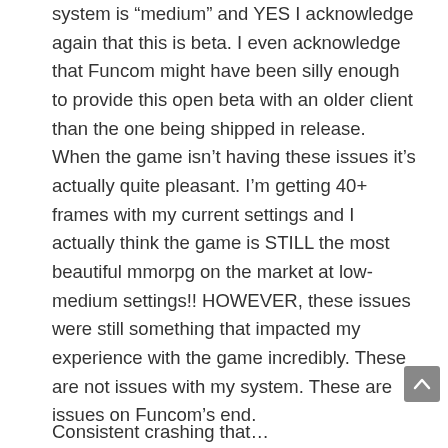system is “medium” and YES I acknowledge again that this is beta. I even acknowledge that Funcom might have been silly enough to provide this open beta with an older client than the one being shipped in release. When the game isn’t having these issues it’s actually quite pleasant. I’m getting 40+ frames with my current settings and I actually think the game is STILL the most beautiful mmorpg on the market at low-medium settings!! HOWEVER, these issues were still something that impacted my experience with the game incredibly. These are not issues with my system. These are issues on Funcom’s end.
The following are just a few of the problems I encountered.
Consistent crashing that...